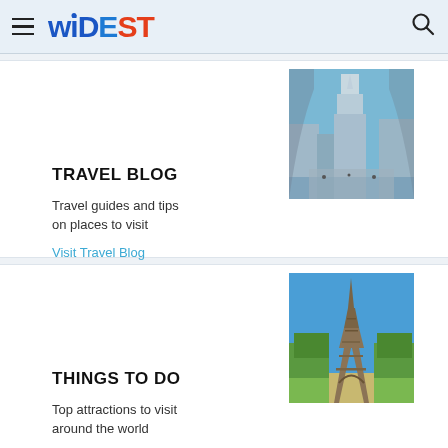WIDEST
[Figure (photo): Burj Khalifa skyscraper viewed from below, Dubai skyline with water reflections]
TRAVEL BLOG
Travel guides and tips on places to visit
Visit Travel Blog
[Figure (photo): Eiffel Tower in Paris with green trees and clear blue sky]
THINGS TO DO
Top attractions to visit around the world
Top Attractions